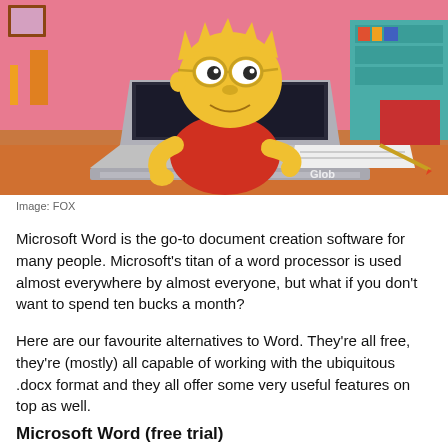[Figure (illustration): Bart Simpson character from The Simpsons sitting at a desk using a laptop computer, with a pink bedroom background, papers on the desk, and a 'Glob' watermark visible in the lower right of the image.]
Image: FOX
Microsoft Word is the go-to document creation software for many people. Microsoft's titan of a word processor is used almost everywhere by almost everyone, but what if you don't want to spend ten bucks a month?
Here are our favourite alternatives to Word. They're all free, they're (mostly) all capable of working with the ubiquitous .docx format and they all offer some very useful features on top as well.
Microsoft Word (free trial)